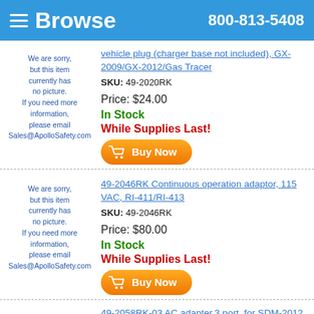Browse  800-813-5408
vehicle plug (charger base not included), GX-2009/GX-2012/Gas Tracer
SKU: 49-2020RK
[Figure (other): No picture placeholder text: We are sorry, but this item currently has no picture. If you need more information, please email Sales@ApolloSafety.com]
Price: $24.00
In Stock
While Supplies Last!
49-2046RK Continuous operation adaptor, 115 VAC, RI-411/RI-413
SKU: 49-2046RK
[Figure (other): No picture placeholder text: We are sorry, but this item currently has no picture. If you need more information, please email Sales@ApolloSafety.com]
Price: $80.00
In Stock
While Supplies Last!
49-2058RK-03 AC adapter,3 port, for SDM-2012 and SDM-E2